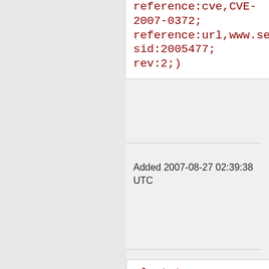reference:cve,CVE-2007-0372; reference:url,www.securit sid:2005477; rev:2;)
Added 2007-08-27 02:39:38 UTC
alert tcp $EXTERNAL_NET any -> $HTTP_SERVERS $HTTP_PORTS (msg:"BLEEDING-EDGE WEB Francisco Burzi PHP-Nuke SQL Injection Attempt -- index.php clickurl DELETE";